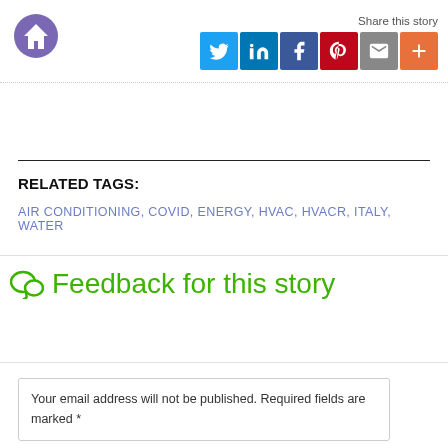[Figure (logo): Purple circular home icon button]
Share this story
[Figure (infographic): Social share icons: Twitter (blue), LinkedIn (blue), Facebook (dark blue), Pinterest (red), Email (gray), Plus/More (orange)]
RELATED TAGS:
AIR CONDITIONING, COVID, ENERGY, HVAC, HVACR, ITALY, WATER
Feedback for this story
Your email address will not be published. Required fields are marked *